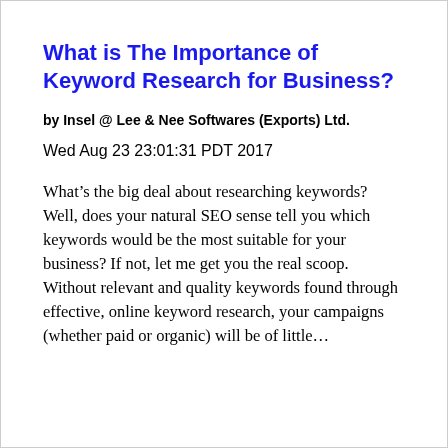What is The Importance of Keyword Research for Business?
by Insel @ Lee & Nee Softwares (Exports) Ltd.
Wed Aug 23 23:01:31 PDT 2017
What’s the big deal about researching keywords? Well, does your natural SEO sense tell you which keywords would be the most suitable for your business? If not, let me get you the real scoop. Without relevant and quality keywords found through effective, online keyword research, your campaigns (whether paid or organic) will be of little…